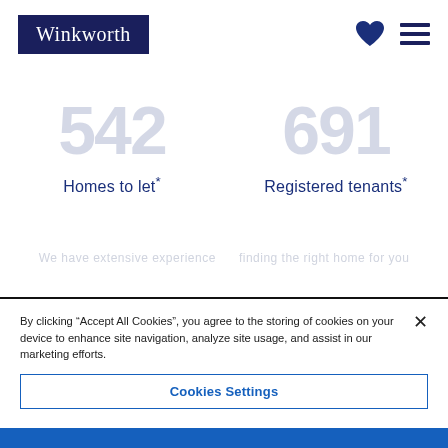Winkworth
Homes to let*
Registered tenants*
By clicking "Accept All Cookies", you agree to the storing of cookies on your device to enhance site navigation, analyze site usage, and assist in our marketing efforts.
Cookies Settings